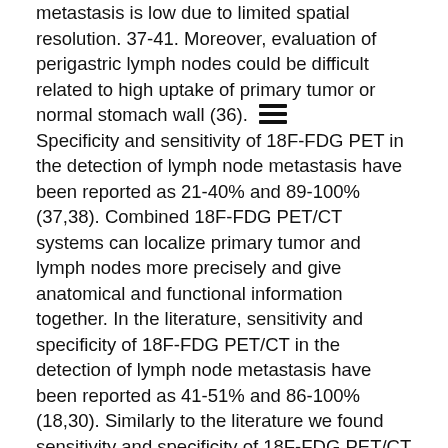metastasis is low due to limited spatial resolution. 37-41. Moreover, evaluation of perigastric lymph nodes could be difficult related to high uptake of primary tumor or normal stomach wall (36). Specificity and sensitivity of 18F-FDG PET in the detection of lymph node metastasis have been reported as 21-40% and 89-100% (37,38). Combined 18F-FDG PET/CT systems can localize primary tumor and lymph nodes more precisely and give anatomical and functional information together. In the literature, sensitivity and specificity of 18F-FDG PET/CT in the detection of lymph node metastasis have been reported as 41-51% and 86-100% (18,30). Similarly to the literature we found sensitivity and specificity of 18F-FDG PET/CT in the detection of lymph node metastasis as 64.7% and 100%. FDG-PET has a better positive predictive value for lymph node metastasis in comparison with CT, which may alter planning of therapy, as treatment strategy changes due to especially N3 lymph node metastasis from curative surgery to a palliative strategy (36). Inclusion of intravenous contrast agent enhanced CT protocols during PET/CT procedures could increase sensitivity of 18F-FDG PET/CT especially in the distinguishing perigastric lymph nodes (18). Because of its suboptimal sensitivity,